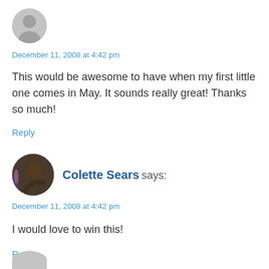[Figure (photo): Gray default avatar circle for anonymous commenter]
December 11, 2008 at 4:42 pm
This would be awesome to have when my first little one comes in May. It sounds really great! Thanks so much!
Reply
[Figure (photo): Profile photo of Colette Sears showing a woman in profile with flowers, framed circular]
Colette Sears says:
December 11, 2008 at 4:42 pm
I would love to win this!
Reply